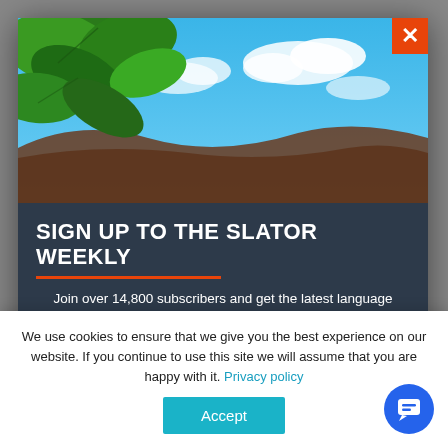[Figure (photo): Tropical scene with green leaves in foreground and blue sky with white clouds in background. Landscape/beach imagery.]
SIGN UP TO THE SLATOR WEEKLY
Join over 14,800 subscribers and get the latest language industry intelligence every Friday
Email address
We use cookies to ensure that we give you the best experience on our website. If you continue to use this site we will assume that you are happy with it. Privacy policy
Accept